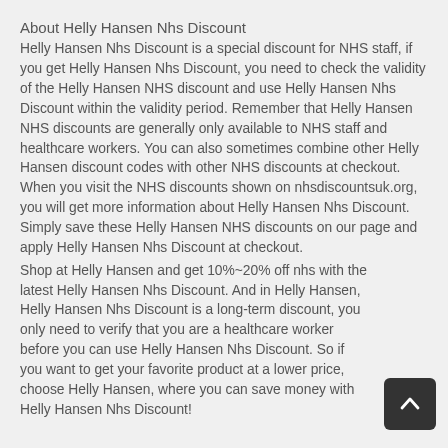About Helly Hansen Nhs Discount
Helly Hansen Nhs Discount is a special discount for NHS staff, if you get Helly Hansen Nhs Discount, you need to check the validity of the Helly Hansen NHS discount and use Helly Hansen Nhs Discount within the validity period. Remember that Helly Hansen NHS discounts are generally only available to NHS staff and healthcare workers. You can also sometimes combine other Helly Hansen discount codes with other NHS discounts at checkout. When you visit the NHS discounts shown on nhsdiscountsuk.org, you will get more information about Helly Hansen Nhs Discount. Simply save these Helly Hansen NHS discounts on our page and apply Helly Hansen Nhs Discount at checkout.
Shop at Helly Hansen and get 10%~20% off nhs with the latest Helly Hansen Nhs Discount. And in Helly Hansen, Helly Hansen Nhs Discount is a long-term discount, you only need to verify that you are a healthcare worker before you can use Helly Hansen Nhs Discount. So if you want to get your favorite product at a lower price, choose Helly Hansen, where you can save money with Helly Hansen Nhs Discount!